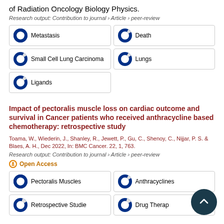of Radiation Oncology Biology Physics.
Research output: Contribution to journal › Article › peer-review
Metastasis
Death
Small Cell Lung Carcinoma
Lungs
Ligands
Impact of pectoralis muscle loss on cardiac outcome and survival in Cancer patients who received anthracycline based chemotherapy: retrospective study
Toama, W., Wiederin, J., Shanley, R., Jewett, P., Gu, C., Shenoy, C., Nijjar, P. S. & Blaes, A. H., Dec 2022, In: BMC Cancer. 22, 1, 763.
Research output: Contribution to journal › Article › peer-review
Open Access
Pectoralis Muscles
Anthracyclines
Retrospective Studies
Drug Therapy